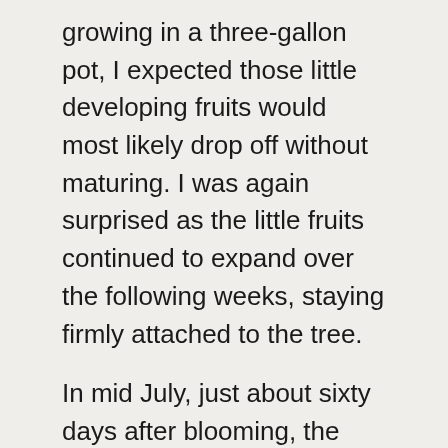growing in a three-gallon pot, I expected those little developing fruits would most likely drop off without maturing. I was again surprised as the little fruits continued to expand over the following weeks, staying firmly attached to the tree.
In mid July, just about sixty days after blooming, the fruits ripened. It was exciting to actually got to taste the plant's fruit after all these years. I compared them to photos and descriptions online, and confirmed that this does appear to be lasura, Cordia myxa.
Here's what it's like to eat them. Lasura fruit has two distinct layers of flesh, an outer layer just under the skin, and an inner jelly-like layer surrounding the seed. The outer flesh has a soft, melting texture,